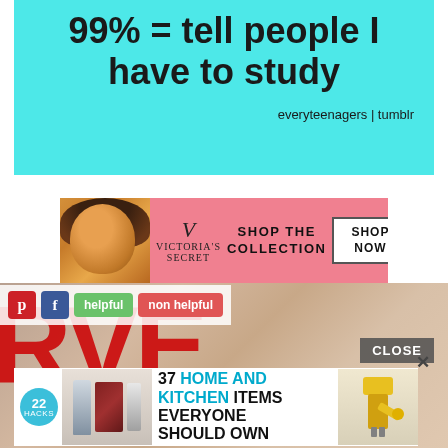[Figure (illustration): Cyan/turquoise background meme image with bold black text reading '99% = tell people I have to study' with 'everyteenagers | tumblr' attribution at bottom right]
[Figure (screenshot): Victoria's Secret advertisement banner with model, VS logo, 'SHOP THE COLLECTION' text and 'SHOP NOW' white button]
[Figure (screenshot): Social sharing buttons row: Pinterest (red P), Facebook (blue f), green 'helpful' button, red 'non helpful' button]
[Figure (screenshot): Magazine background with large red letters 'RVE' partially visible, rocky/sandy background texture, with CLOSE button overlay]
[Figure (screenshot): Bottom advertisement: '22 HACKS' teal badge, kitchen product images, text '37 HOME AND KITCHEN ITEMS EVERYONE SHOULD OWN', yellow kitchen tool images on right]